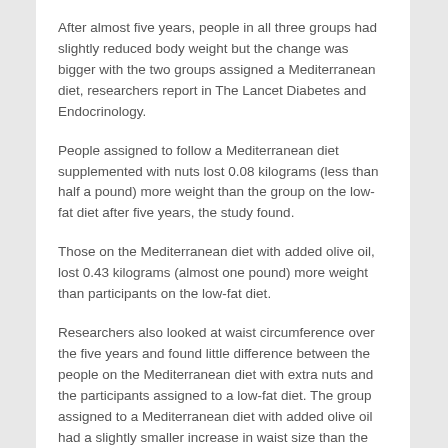After almost five years, people in all three groups had slightly reduced body weight but the change was bigger with the two groups assigned a Mediterranean diet, researchers report in The Lancet Diabetes and Endocrinology.
People assigned to follow a Mediterranean diet supplemented with nuts lost 0.08 kilograms (less than half a pound) more weight than the group on the low-fat diet after five years, the study found.
Those on the Mediterranean diet with added olive oil, lost 0.43 kilograms (almost one pound) more weight than participants on the low-fat diet.
Researchers also looked at waist circumference over the five years and found little difference between the people on the Mediterranean diet with extra nuts and the participants assigned to a low-fat diet. The group assigned to a Mediterranean diet with added olive oil had a slightly smaller increase in waist size than the low-fat diet group.